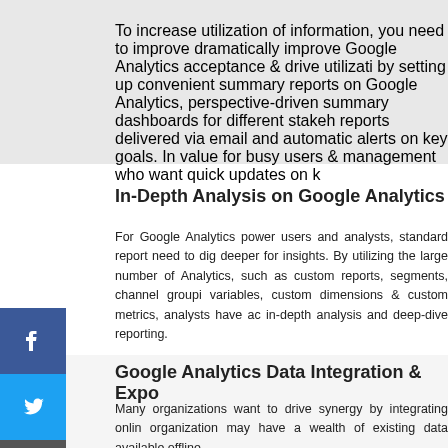To increase utilization of information, you need to improve dramatically improve Google Analytics acceptance & drive utilization by setting up convenient summary reports on Google Analytics, perspective-driven summary dashboards for different stakeholders, reports delivered via email and automatic alerts on key goals. In value for busy users & management who want quick updates on k
[Figure (logo): Facebook social share icon - blue square with white 'f' logo]
[Figure (logo): Twitter social share icon - blue square with white bird logo]
[Figure (logo): Email social share icon - dark gray square with white envelope icon]
In-Depth Analysis on Google Analytics
For Google Analytics power users and analysts, standard reports need to dig deeper for insights. By utilizing the large number of Analytics, such as custom reports, segments, channel grouping, variables, custom dimensions & custom metrics, analysts have access to in-depth analysis and deep-dive reporting.
Google Analytics Data Integration & Expo
Many organizations want to drive synergy by integrating online organization may have a wealth of existing data available offline